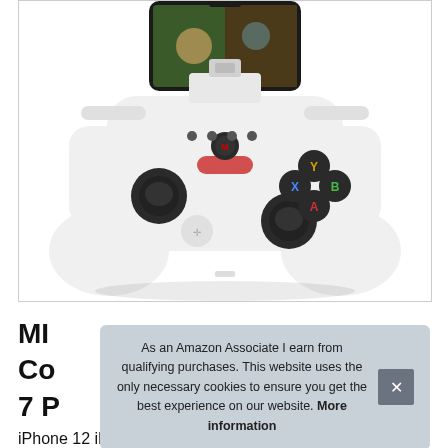[Figure (photo): White game controller with phone mount holding a smartphone displaying a fantasy game. Controller has dual analog sticks, XYAB colored buttons, and a white body with black accents.]
MI Co 7 P
As an Amazon Associate I earn from qualifying purchases. This website uses the only necessary cookies to ensure you get the best experience on our website. More information
iPhone 12 iPhone Xs 8 XR X 7 6S 6 5S